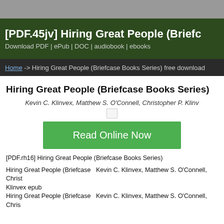[PDF.45jv] Hiring Great People (Briefcase Books Series) – Download PDF | ePub | DOC | audiobook | ebooks
Home -> Hiring Great People (Briefcase Books Series) free download
Hiring Great People (Briefcase Books Series)
Kevin C. Klinvex, Matthew S. O'Connell, Christopher P. Klinvex
[Figure (other): Broken image placeholder]
Read Online Now
[PDF.rh16] Hiring Great People (Briefcase Books Series)
Hiring Great People (Briefcase  Kevin C. Klinvex, Matthew S. O'Connell, Christopher P. Klinvex epub
Hiring Great People (Briefcase  Kevin C. Klinvex, Matthew S. O'Connell, Chris